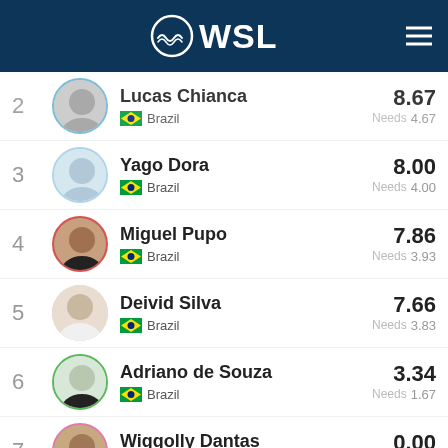WSL
2 Lucas Chianca - Brazil - 8.67 Needs 4.67
3 Yago Dora - Brazil - 8.00 Needs 4.00
4 Miguel Pupo - Brazil - 7.86 Needs 3.93
5 Deivid Silva - Brazil - 7.66 Needs 3.83
6 Adriano de Souza - Brazil - 3.34 Needs 1.67
7 Wiggolly Dantas - Brazil - 0.00 Needs 6.68